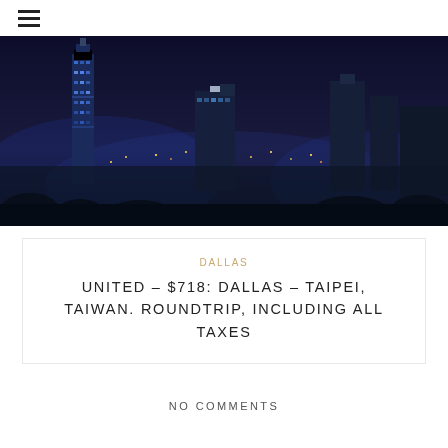≡
[Figure (photo): Night cityscape with illuminated skyscrapers and city lights spread across the horizon, featuring tall buildings including what appears to be Taipei 101 tower on the left.]
DALLAS
UNITED – $718: DALLAS – TAIPEI, TAIWAN. ROUNDTRIP, INCLUDING ALL TAXES
NO COMMENTS